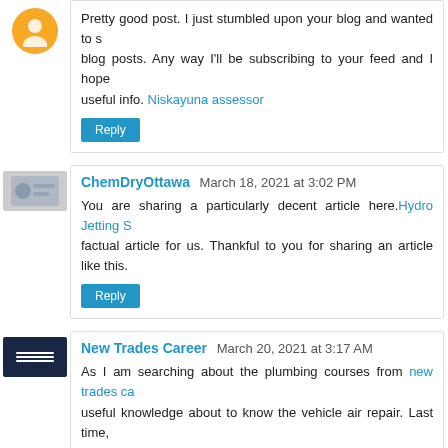Pretty good post. I just stumbled upon your blog and wanted to say that I have really enjoyed reading your blog posts. Any way I'll be subscribing to your feed and I hope you post again soon. Big thanks for the useful info. Niskayuna assessor
Reply
ChemDryOttawa March 18, 2021 at 3:02 PM
You are sharing a particularly decent article here. Hydro Jetting S... factual article for us. Thankful to you for sharing an article like this.
Reply
New Trades Career March 20, 2021 at 3:17 AM
As I am searching about the plumbing courses from new trades ca... useful knowledge about to know the vehicle air repair. Last time, did not about it that's why I take the car to the service center, there...
Reply
farmlandsagency April 2, 2021 at 2:32 AM
I have read all the comments and suggestions posted by the visito... for your next article so only. Thanks! Blocked Drains Melbourne